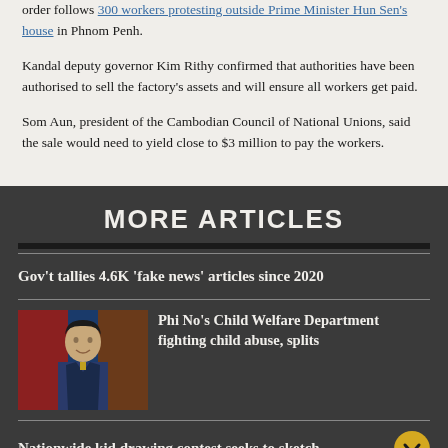order follows 300 workers protesting outside Prime Minister Hun Sen's house in Phnom Penh.
Kandal deputy governor Kim Rithy confirmed that authorities have been authorised to sell the factory's assets and will ensure all workers get paid.
Som Aun, president of the Cambodian Council of National Unions, said the sale would need to yield close to $3 million to pay the workers.
MORE ARTICLES
Gov't tallies 4.6K 'fake news' articles since 2020
[Figure (photo): Headshot of a man in a suit with flags in the background]
Phi No's Child Welfare Department fighting child abuse, splits
Nationwide kid drawing contest seeks to sketch